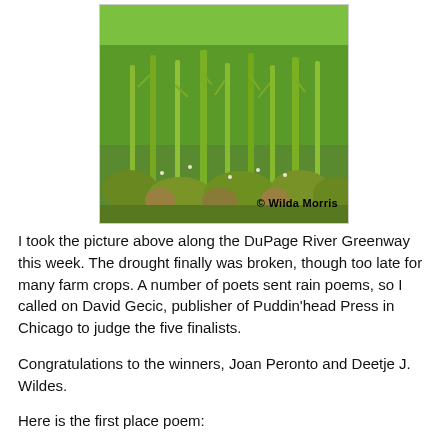[Figure (photo): Photograph of green plants and weeds along the DuPage River Greenway, with a watermark reading '© Wilda Morris' in the lower right corner.]
I took the picture above along the DuPage River Greenway this week. The drought finally was broken, though too late for many farm crops. A number of poets sent rain poems, so I called on David Gecic, publisher of Puddin'head Press in Chicago to judge the five finalists.
Congratulations to the winners, Joan Peronto and Deetje J. Wildes.
Here is the first place poem: